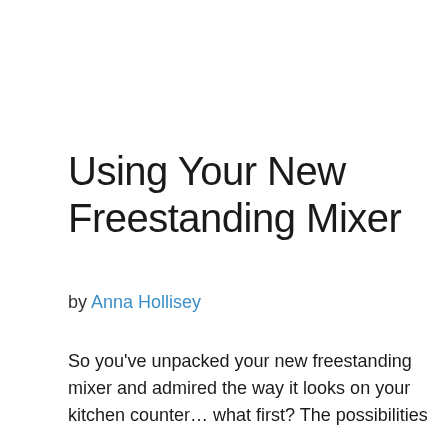Using Your New Freestanding Mixer
by Anna Hollisey
So you've unpacked your new freestanding mixer and admired the way it looks on your kitchen counter… what first? The possibilities